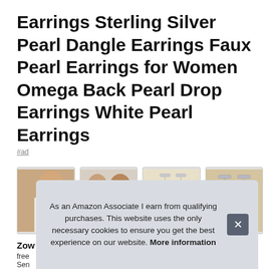Earrings Sterling Silver Pearl Dangle Earrings Faux Pearl Earrings for Women Omega Back Pearl Drop Earrings White Pearl Earrings
#ad
[Figure (photo): Four product thumbnail images of pearl dangle earrings: first shows a woman wearing pearl earring, second shows two women modeling earrings, third shows close-up of pearl drop earrings on white background, fourth shows close-up of pearl earrings.]
Zow...
free...
Sen...
Committed To Provide The Best Jewelry And The Best...
As an Amazon Associate I earn from qualifying purchases. This website uses the only necessary cookies to ensure you get the best experience on our website. More information